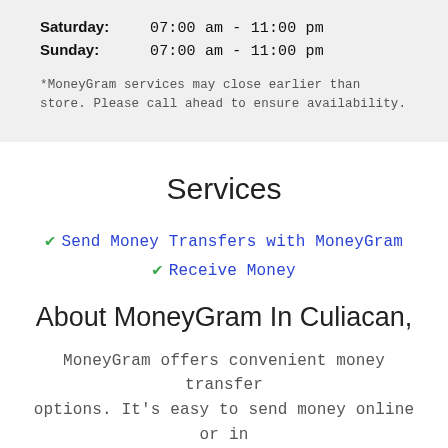Saturday:   07:00 am - 11:00 pm
Sunday:   07:00 am - 11:00 pm
*MoneyGram services may close earlier than store. Please call ahead to ensure availability.
Services
Send Money Transfers with MoneyGram
Receive Money
About MoneyGram In Culiacan,
MoneyGram offers convenient money transfer options. It's easy to send money online or in